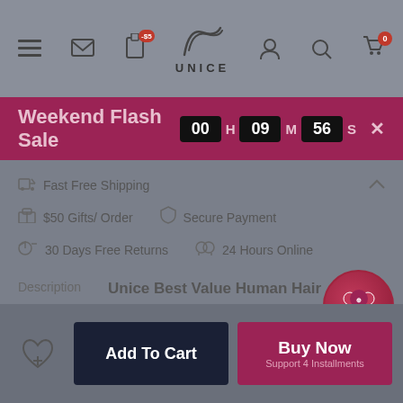[Figure (screenshot): UNice e-commerce mobile app navigation bar with hamburger menu, mail icon, app badge (-$5), UNice logo, user icon, search icon, and cart icon (0 items)]
Weekend Flash Sale  00 H 09 M 56 S ×
Fast Free Shipping
$50 Gifts/ Order
Secure Payment
30 Days Free Returns
24 Hours Online
Description  Unice Best Value Human Hair Headband Scarf Wig for African...
★★★★★ 0  View Reviews >
Gifts
$0.01
Add To Cart
Buy Now  Support 4 Installments